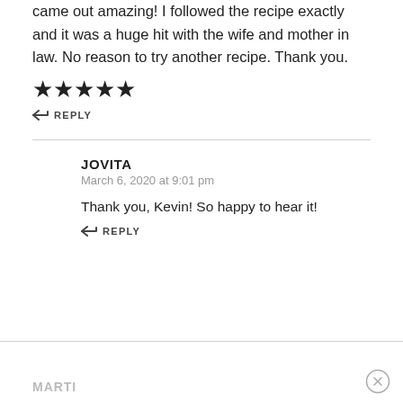came out amazing! I followed the recipe exactly and it was a huge hit with the wife and mother in law. No reason to try another recipe. Thank you.
[Figure (other): Five filled star rating icons]
↩ REPLY
JOVITA
March 6, 2020 at 9:01 pm
Thank you, Kevin! So happy to hear it!
↩ REPLY
MARTI